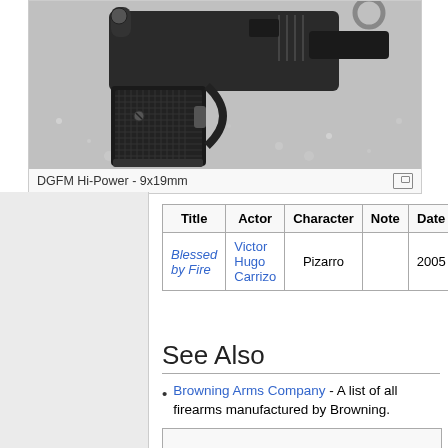[Figure (photo): Close-up photo of a DGFM Hi-Power pistol - 9x19mm, showing the grip and upper portion of the handgun against a light grey speckled surface.]
DGFM Hi-Power - 9x19mm
| Title | Actor | Character | Note | Date |
| --- | --- | --- | --- | --- |
| Blessed by Fire | Victor Hugo Carrizo | Pizarro |  | 2005 |
See Also
Browning Arms Company - A list of all firearms manufactured by Browning.